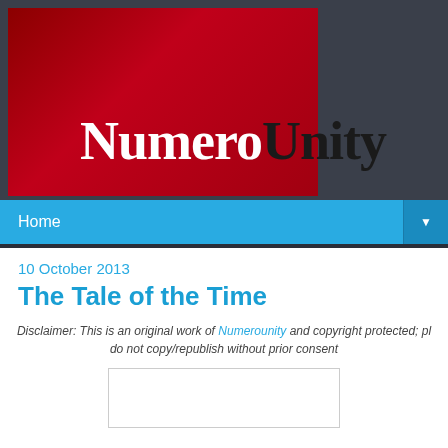[Figure (logo): NumeroUnity website logo with red block background on left and black 'Unity' text on grey background on right. 'Numero' in white serif bold font on red, 'Unity' in black serif bold font.]
Home
10 October 2013
The Tale of the Time
Disclaimer: This is an original work of Numerounity and copyright protected; pl do not copy/republish without prior consent